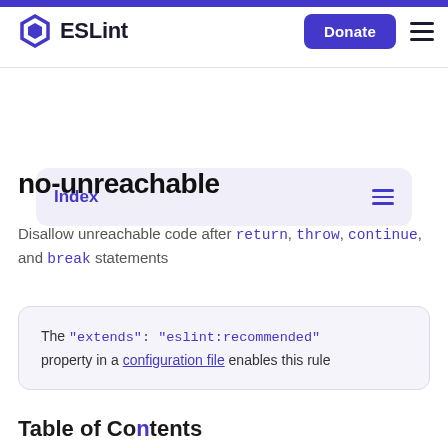ESLint — Donate
Index
no-unreachable
Disallow unreachable code after return, throw, continue, and break statements
The "extends": "eslint:recommended" property in a configuration file enables this rule
Table of Contents